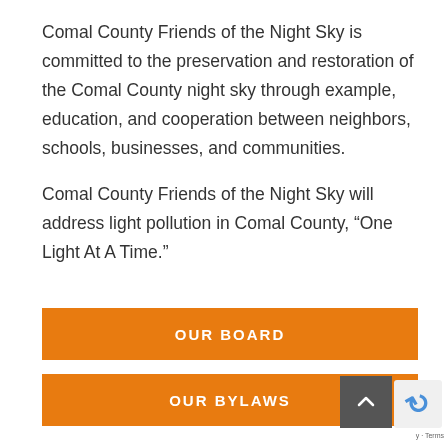Comal County Friends of the Night Sky is committed to the preservation and restoration of the Comal County night sky through example, education, and cooperation between neighbors, schools, businesses, and communities.
Comal County Friends of the Night Sky will address light pollution in Comal County, “One Light At A Time.”
OUR BOARD
OUR BYLAWS